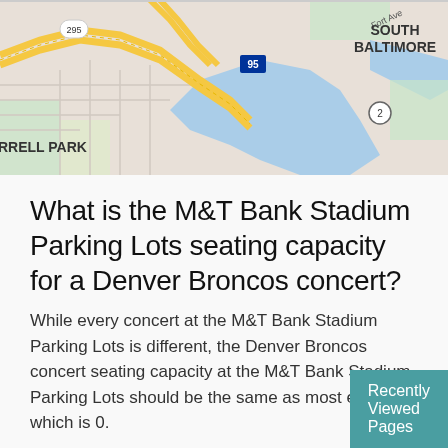[Figure (map): Street map showing South Baltimore area with highways 295, 95, and 2, and a location labeled RRELL PARK (partially visible). Roads shown in yellow/gold, water areas in blue, urban grid visible.]
What is the M&T Bank Stadium Parking Lots seating capacity for a Denver Broncos concert?
While every concert at the M&T Bank Stadium Parking Lots is different, the Denver Broncos concert seating capacity at the M&T Bank Stadium Parking Lots should be the same as most events, which is 0.
Where can I find tickets to see a Denver Broncos concert at M&T Bank Stadium Parking
Recently Viewed Pages